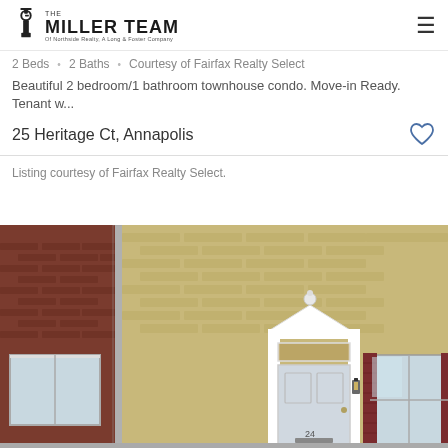The Miller Team — Of Northside Realty, A Long & Foster Company
2 Beds · 2 Baths · Courtesy of Fairfax Realty Select
Beautiful 2 bedroom/1 bathroom townhouse condo. Move-in Ready. Tenant w...
25 Heritage Ct, Annapolis
Listing courtesy of Fairfax Realty Select.
[Figure (photo): Exterior photo of a brick townhouse with a white decorative front door and red shutters on an adjacent unit]